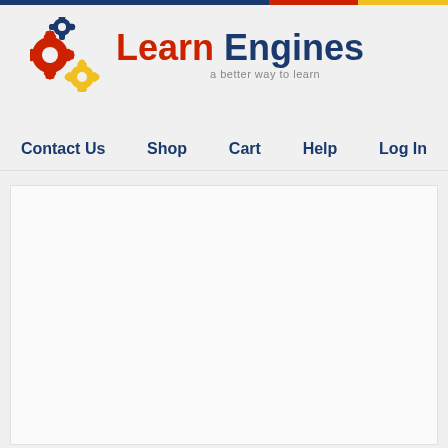[Figure (logo): Learn Engines logo with gear icons and tagline 'a better way to learn']
Contact Us  Shop  Cart  Help  Log In
[Figure (other): Empty white content area placeholder]